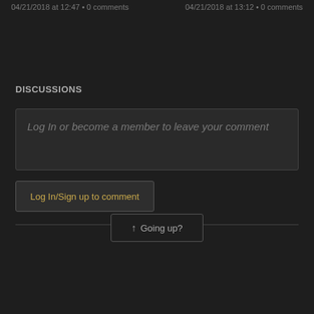04/21/2018 at 12:47 • 0 comments
04/21/2018 at 13:12 • 0 comments
DISCUSSIONS
Log In or become a member to leave your comment
Log In/Sign up to comment
↑ Going up?
About Us  Contact Hackaday.io  Give Feedback  Terms of Use  Privacy Policy  Hackaday API  © 2022 Hackaday